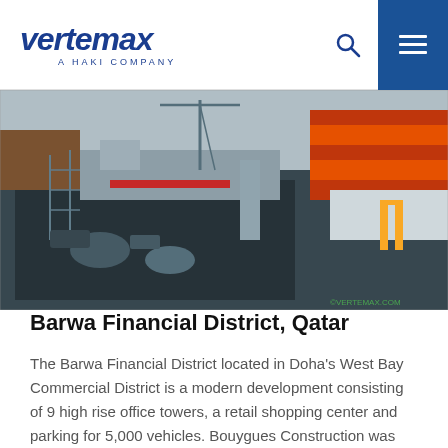vertemax — A HAKI COMPANY
[Figure (photo): Aerial view of Barwa Financial District construction site in Qatar, showing large-scale excavation, concrete structures, scaffolding, cranes, and an orange-clad building under construction in the background.]
Barwa Financial District, Qatar
The Barwa Financial District located in Doha's West Bay Commercial District is a modern development consisting of 9 high rise office towers, a retail shopping center and parking for 5,000 vehicles. Bouygues Construction was appointed the main contractor who